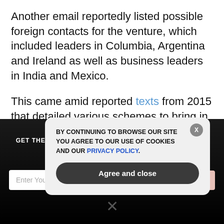Another email reportedly listed possible foreign contacts for the venture, which included leaders in Columbia, Argentina and Ireland as well as business leaders in India and Mexico.
This came amid reported texts from 2015 that detailed various schemes to bring in former federal officials. The texts stated that political influence was key to their business strategy.
Reports also claimed that once Hunter was brought into the
[Figure (screenshot): Dark background newsletter subscription banner with email input and subscribe button, overlaid by a cookie consent modal dialog saying 'BY CONTINUING TO BROWSE OUR SITE YOU AGREE TO OUR USE OF COOKIES AND OUR PRIVACY POLICY.' with an 'Agree and close' button.]